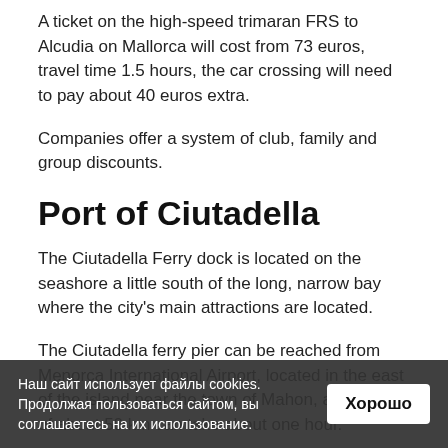A ticket on the high-speed trimaran FRS to Alcudia on Mallorca will cost from 73 euros, travel time 1.5 hours, the car crossing will need to pay about 40 euros extra.
Companies offer a system of club, family and group discounts.
Port of Ciutadella
The Ciutadella Ferry dock is located on the seashore a little south of the long, narrow bay where the city's main attractions are located.
The Ciutadella ferry pier can be reached from Menorca International Airport, located in the east of the island near the town of Mahon, a journey of about 50 km can take about one hour.
Th... ched from M... International Airport.
Наш сайт использует файлы cookies. Продолжая пользоваться сайтом, вы соглашаетесь на их использование.